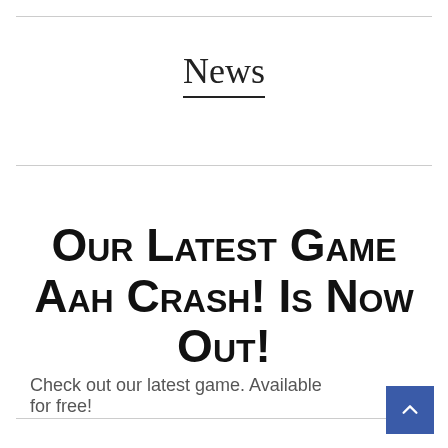News
Our latest game Aah Crash! is now out!
Check out our latest game. Available for free!